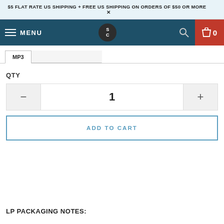$5 FLAT RATE US SHIPPING + FREE US SHIPPING ON ORDERS OF $50 OR MORE  ×
MENU  S/C  🔍  0
MP3
QTY
1
ADD TO CART
LP PACKAGING NOTES: